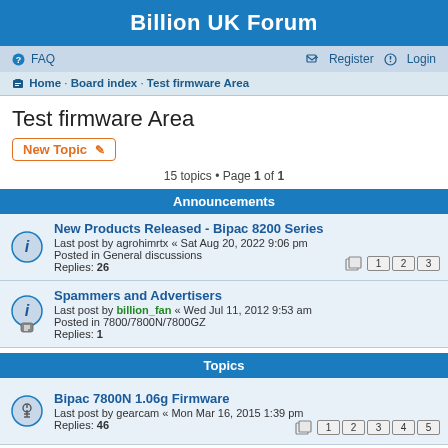Billion UK Forum
FAQ | Register | Login
Home · Board index · Test firmware Area
Test firmware Area
New Topic
15 topics • Page 1 of 1
Announcements
New Products Released - Bipac 8200 Series
Last post by agrohimrtx « Sat Aug 20, 2022 9:06 pm
Posted in General discussions
Replies: 26
Spammers and Advertisers
Last post by billion_fan « Wed Jul 11, 2012 9:53 am
Posted in 7800/7800N/7800GZ
Replies: 1
Topics
Bipac 7800N 1.06g Firmware
Last post by gearcam « Mon Mar 16, 2015 1:39 pm
Replies: 46